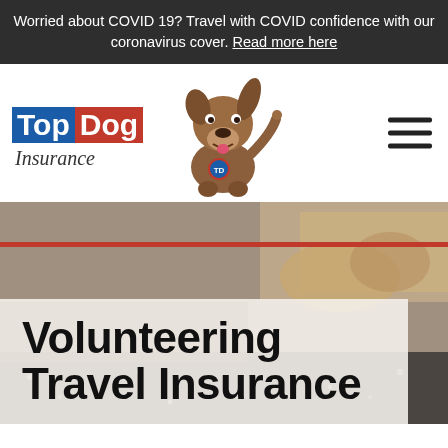Worried about COVID 19? Travel with COVID confidence with our coronavirus cover. Read more here
[Figure (logo): TopDog Insurance logo with blue 'Top' and red 'Dog' text blocks, and italic 'Insurance' text below, alongside a brown animated dog mascot]
Volunteering Travel Insurance